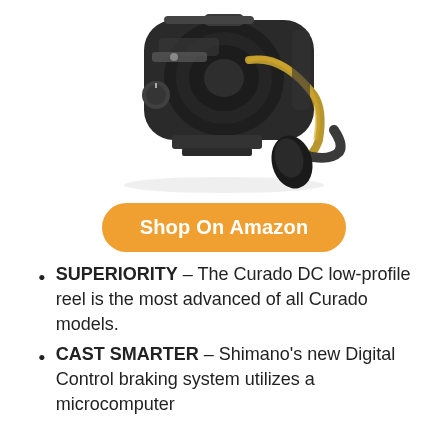[Figure (photo): A Shimano Curado DC baitcasting fishing reel shown from a low angle, dark metallic body with gold accents and a large black handle knob.]
Shop On Amazon
SUPERIORITY – The Curado DC low-profile reel is the most advanced of all Curado models.
CAST SMARTER – Shimano's new Digital Control braking system utilizes a microcomputer